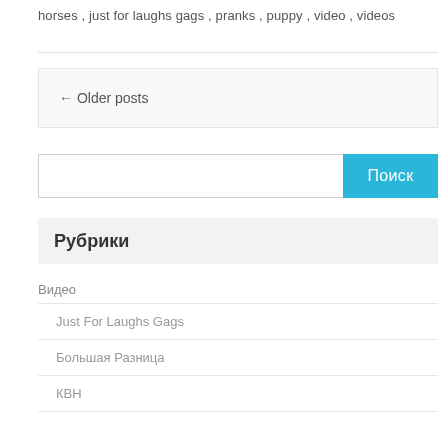horses , just for laughs gags , pranks , puppy , video , videos
← Older posts
[Figure (other): Search input field with blue search button labeled 'Поиск']
Рубрики
Видео
Just For Laughs Gags
Большая Разница
КВН